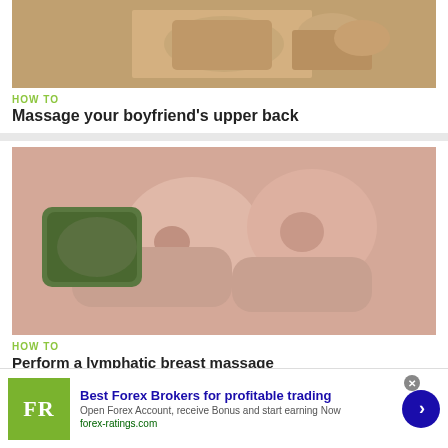[Figure (photo): Close-up photo of hands massaging a person's upper back, skin tones visible]
HOW TO
Massage your boyfriend's upper back
[Figure (photo): Photo showing hands performing a massage on a person's chest/breast area]
HOW TO
Perform a lymphatic breast massage
[Figure (other): Advertisement banner: Best Forex Brokers for profitable trading. FR logo in green square. Open Forex Account, receive Bonus and start earning Now. forex-ratings.com]